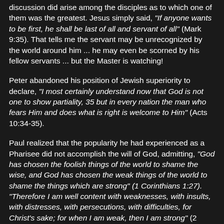discussion did arise among the disciples as to which one of them was the greatest. Jesus simply said, "If anyone wants to be first, he shall be last of all and servant of all" (Mark 9:35). That tells me the servant may be unrecognized by the world around him ... he may even be scorned by his fellow servants ... but the Master is watching!
Peter abandoned his position of Jewish superiority to declare, "I most certainly understand now that God is not one to show partiality, 35 but in every nation the man who fears Him and does what is right is welcome to Him" (Acts 10:34-35).
Paul realized that the popularity he had experienced as a Pharisee did not accomplish the will of God, admitting, "God has chosen the foolish things of the world to shame the wise, and God has chosen the weak things of the world to shame the things which are strong" (1 Corinthians 1:27). "Therefore I am well content with weaknesses, with insults, with distresses, with persecutions, with difficulties, for Christ's sake; for when I am weak, then I am strong" (2 Corinthians 12:10).